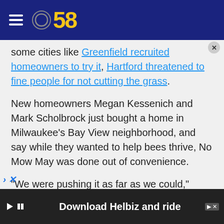CBS 58
some cities like Greenfield recruited homeowners to try it, Hartford threatened to fine people for not cutting the grass.
New homeowners Megan Kessenich and Mark Scholbrock just bought a home in Milwaukee's Bay View neighborhood, and say while they wanted to help bees thrive, No Mow May was done out of convenience.
"We were pushing it as far as we could," Scholbrock said.
Did No Mow May work? As far as official bee counts,
[Figure (screenshot): Advertisement banner at bottom reading 'Download Helbiz and ride' with dark background and ad controls]